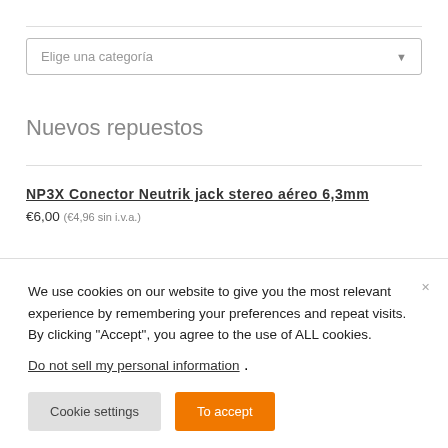Elige una categoría
Nuevos repuestos
NP3X Conector Neutrik jack stereo aéreo 6,3mm
€6,00 (€4,96 sin i.v.a.)
We use cookies on our website to give you the most relevant experience by remembering your preferences and repeat visits. By clicking "Accept", you agree to the use of ALL cookies.
Do not sell my personal information .
Cookie settings
To accept